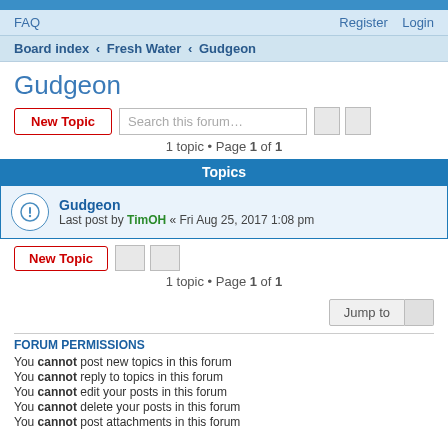FAQ | Register | Login
Board index < Fresh Water < Gudgeon
Gudgeon
1 topic • Page 1 of 1
Topics
Gudgeon
Last post by TimOH « Fri Aug 25, 2017 1:08 pm
1 topic • Page 1 of 1
FORUM PERMISSIONS
You cannot post new topics in this forum
You cannot reply to topics in this forum
You cannot edit your posts in this forum
You cannot delete your posts in this forum
You cannot post attachments in this forum